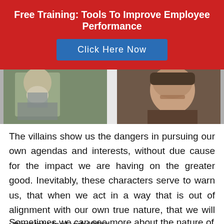Free Training: Tools To Improve Employee Performance
[Figure (other): Red banner with 'Click Here Now' blue CTA button]
[Figure (photo): Two movie stills side by side: left shows a knight in chainmail armor, right shows a villain character; TRAINING label overlay visible]
The villains show us the dangers in pursuing our own agendas and interests, without due cause for the impact we are having on the greater good. Inevitably, these characters serve to warn us, that when we act in a way that is out of alignment with our own true nature, that we will ultimately feel unfulfilled.
Sometime we can see...